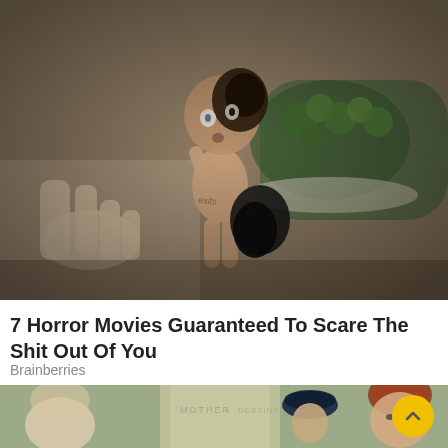[Figure (photo): A creepy damaged baby doll being held by a hand, with a burned/darkened face, over a bowl of broccoli. Dark and horror-themed image.]
7 Horror Movies Guaranteed To Scare The Shit Out Of You
Brainberries
[Figure (photo): A movie scene showing a man in a dark beret and a woman with red hair, in front of a greenish background with text 'MOTHER' visible. A yellow circular button with an up arrow is overlaid on the right side.]